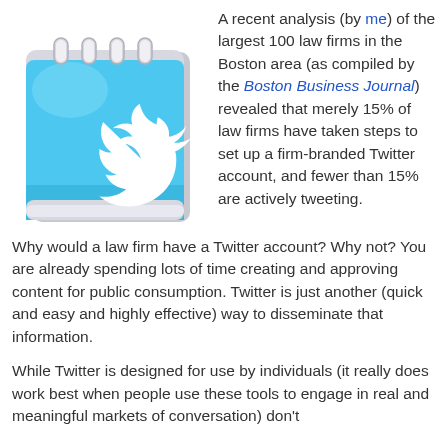[Figure (illustration): Twitter logo on a notepad/notebook illustration in light blue with white Twitter bird icon and spiral binding at top]
A recent analysis (by me) of the largest 100 law firms in the Boston area (as compiled by the Boston Business Journal) revealed that merely 15% of law firms have taken steps to set up a firm-branded Twitter account, and fewer than 15% are actively tweeting. Why would a law firm have a Twitter account? Why not? You are already spending lots of time creating and approving content for public consumption. Twitter is just another (quick and easy and highly effective) way to disseminate that information.
While Twitter is designed for use by individuals (it really does work best when people use these tools to engage in real and meaningful markets of conversation) don't